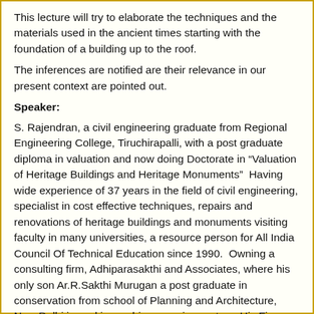This lecture will try to elaborate the techniques and the materials used in the ancient times starting with the foundation of a building up to the roof.
The inferences are notified are their relevance in our present context are pointed out.
Speaker:
S. Rajendran, a civil engineering graduate from Regional Engineering College, Tiruchirapalli, with a post graduate diploma in valuation and now doing Doctorate in “Valuation of Heritage Buildings and Heritage Monuments”  Having wide experience of 37 years in the field of civil engineering, specialist in cost effective techniques, repairs and renovations of heritage buildings and monuments visiting faculty in many universities, a resource person for All India Council Of Technical Education since 1990.  Owning a consulting firm, Adhiparasakthi and Associates, where his only son Ar.R.Sakthi Murugan a post graduate in conservation from school of Planning and Architecture, New Delhi is working as his managing partner. His Firm specializes in conservation works in heritage monuments